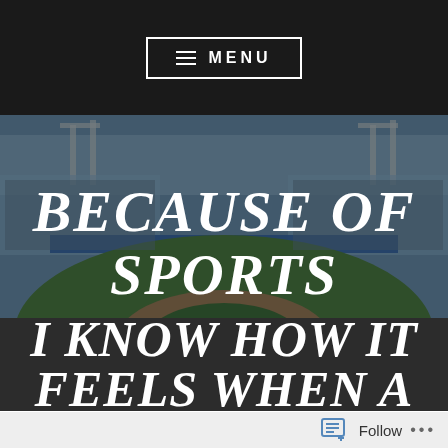≡ MENU
[Figure (photo): A baseball stadium filled with spectators, showing the field, outfield wall, and stadium lights under a daylight sky. Image is dimmed with a dark overlay.]
BECAUSE OF SPORTS
I KNOW HOW IT FEELS WHEN A
Follow ...